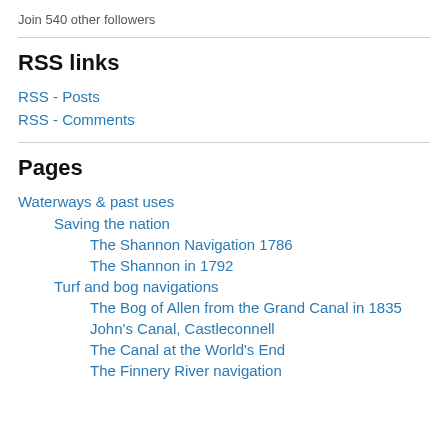Join 540 other followers
RSS links
RSS - Posts
RSS - Comments
Pages
Waterways & past uses
Saving the nation
The Shannon Navigation 1786
The Shannon in 1792
Turf and bog navigations
The Bog of Allen from the Grand Canal in 1835
John's Canal, Castleconnell
The Canal at the World's End
The Finnery River navigation